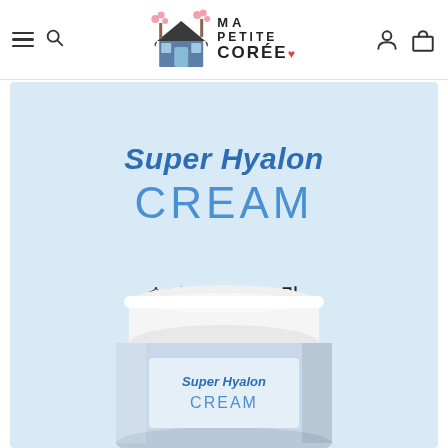Ma Petite Corée — navigation header with menu, search, account, and cart icons
[Figure (photo): Product image for Super Hyalon Cream (슈퍼 히알론 크림) on a light blue background, showing the cream jar partially visible at the bottom. Text reads 'Super Hyalon' in bold italic blue and 'CREAM' in large blue letters, with Korean text '슈퍼 히알론 크림' below.]